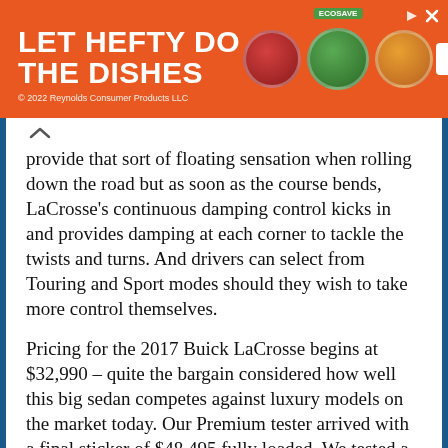[Figure (illustration): Orange advertisement banner for Hefty dish soap products reading 'LET HEFTY DO THE DISHES' with product images and 'SHOP NOW' button. Copyright 2022 Reynolds Consumer Products LLC.]
provide that sort of floating sensation when rolling down the road but as soon as the course bends, LaCrosse's continuous damping control kicks in and provides damping at each corner to tackle the twists and turns. And drivers can select from Touring and Sport modes should they wish to take more control themselves.
Pricing for the 2017 Buick LaCrosse begins at $32,990 – quite the bargain considered how well this big sedan competes against luxury models on the market today. Our Premium tester arrived with a final sticker of $48,495 fully loaded. We tested a front-wheel drive LaCrosse and Buick has plans to release an